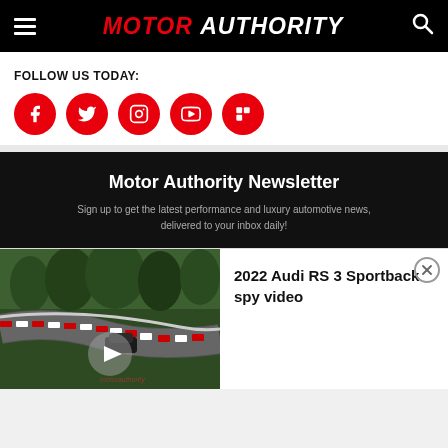MOTOR AUTHORITY
FOLLOW US TODAY:
[Figure (screenshot): Five red circular social media icons: Facebook, Twitter, Instagram, YouTube, Flipboard]
[Figure (screenshot): Motor Authority Newsletter signup banner with dark background. Title: Motor Authority Newsletter. Subtitle: Sign up to get the latest performance and luxury automotive news, delivered to your inbox daily!]
[Figure (screenshot): Video thumbnail showing a car on Nurburgring track with play button. Overlay panel showing title: 2022 Audi RS 3 Sportback spy video with a close button.]